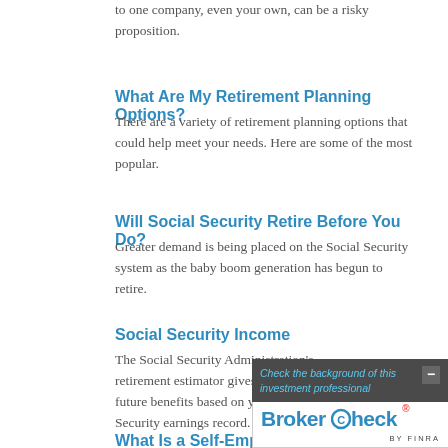to one company, even your own, can be a risky proposition.
What Are My Retirement Planning Options?
There are a variety of retirement planning options that could help meet your needs. Here are some of the most popular.
Will Social Security Retire Before You Do?
Greater demand is being placed on the Social Security system as the baby boom generation has begun to retire.
Social Security Income
The Social Security Administration's retirement estimator gives estimates of your future benefits based on your actual Social Security earnings record.
What Is a Self-Employed Retirement Plan?
[Figure (other): BrokerCheck by FINRA overlay widget with text 'Check the background of this investment professional' and minus/close button]